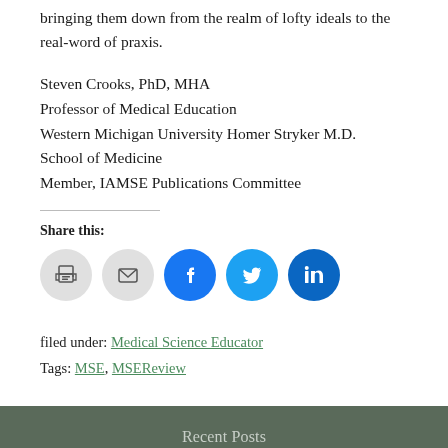bringing them down from the realm of lofty ideals to the real-word of praxis.
Steven Crooks, PhD, MHA
Professor of Medical Education
Western Michigan University Homer Stryker M.D. School of Medicine
Member, IAMSE Publications Committee
Share this:
[Figure (other): Row of social sharing icon buttons: print (gray), email (gray), Facebook (blue), Twitter (light blue), LinkedIn (dark blue)]
filed under: Medical Science Educator
Tags: MSE, MSEReview
Recent Posts